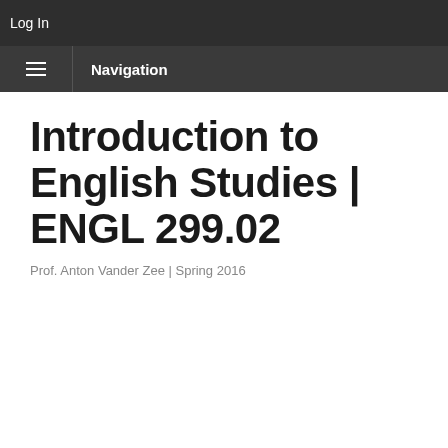Log In
Navigation
Introduction to English Studies | ENGL 299.02
Prof. Anton Vander Zee | Spring 2016
Subjectivity of Self